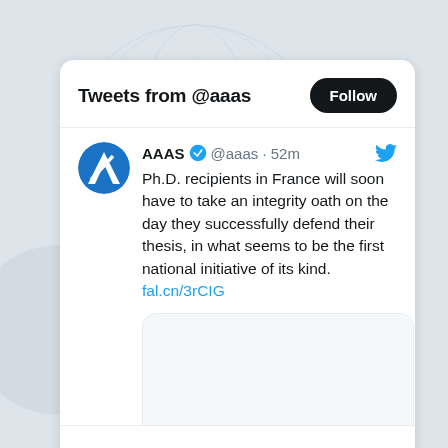Tweets from @aaas
AAAS ✓ @aaas · 52m
Ph.D. recipients in France will soon have to take an integrity oath on the day they successfully defend their thesis, in what seems to be the first national initiative of its kind. fal.cn/3rCIG
[Figure (screenshot): Embedded tweet image preview box (white rectangle with rounded corners, content not visible)]